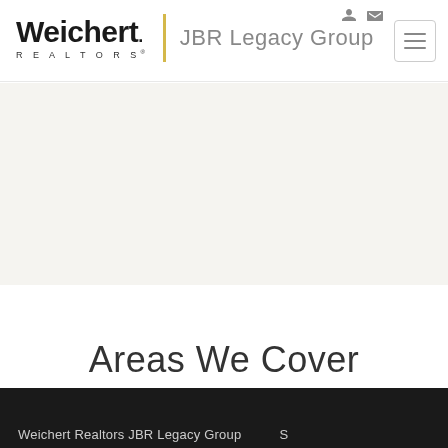Weichert REALTORS | JBR Legacy Group
[Figure (screenshot): Hero banner area with light beige/gray background, likely a map placeholder]
Areas We Cover
Weichert Realtors JBR Legacy Group ...